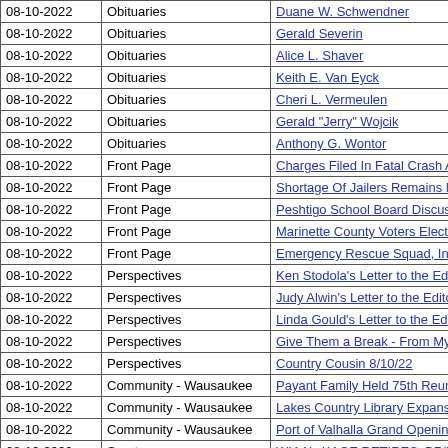| Date | Section | Title |
| --- | --- | --- |
| 08-10-2022 | Obituaries | Duane W. Schwendner |
| 08-10-2022 | Obituaries | Gerald Severin |
| 08-10-2022 | Obituaries | Alice L. Shaver |
| 08-10-2022 | Obituaries | Keith E. Van Eyck |
| 08-10-2022 | Obituaries | Cheri L. Vermeulen |
| 08-10-2022 | Obituaries | Gerald "Jerry" Wojcik |
| 08-10-2022 | Obituaries | Anthony G. Wontor |
| 08-10-2022 | Front Page | Charges Filed In Fatal Crash Aug. 3 On Oconto R… |
| 08-10-2022 | Front Page | Shortage Of Jailers Remains Major Problem For … |
| 08-10-2022 | Front Page | Peshtigo School Board Discuss Building Options |
| 08-10-2022 | Front Page | Marinette County Voters Elected Miller Sheriff, Br… |
| 08-10-2022 | Front Page | Emergency Rescue Squad, Inc. To Celebrate 75 … |
| 08-10-2022 | Perspectives | Ken Stodola's Letter to the Editor |
| 08-10-2022 | Perspectives | Judy Alwin's Letter to the Editor |
| 08-10-2022 | Perspectives | Linda Gould's Letter to the Editor |
| 08-10-2022 | Perspectives | Give Them a Break - From My window for 8/10/22… |
| 08-10-2022 | Perspectives | Country Cousin 8/10/22 |
| 08-10-2022 | Community - Wausaukee | Payant Family Held 75th Reunion July 31 |
| 08-10-2022 | Community - Wausaukee | Lakes Country Library Expansion Gets $25,000 G… |
| 08-10-2022 | Community - Wausaukee | Port of Valhalla Grand Opening Scheduled for Sa… |
| 08-10-2022 | Sports | WIAA's KAGE RETIRES, BRITZ HIRED AS ADM… |
| 08-10-2022 | Sports | … |